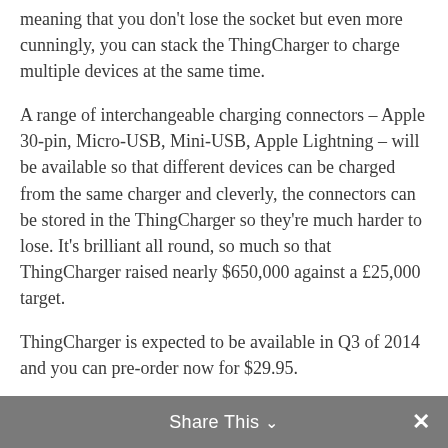meaning that you don't lose the socket but even more cunningly, you can stack the ThingCharger to charge multiple devices at the same time.
A range of interchangeable charging connectors – Apple 30-pin, Micro-USB, Mini-USB, Apple Lightning – will be available so that different devices can be charged from the same charger and cleverly, the connectors can be stored in the ThingCharger so they're much harder to lose. It's brilliant all round, so much so that ThingCharger raised nearly $650,000 against a £25,000 target.
ThingCharger is expected to be available in Q3 of 2014 and you can pre-order now for $29.95.
Interview by Todd Cochrane of Geek News Central for the TechPodcast Network.
Support my CES 2020 Sponsor:
Share This ∨  ✕